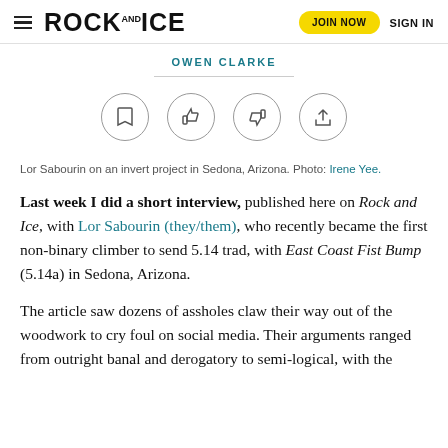ROCK ICE | JOIN NOW | SIGN IN
OWEN CLARKE
[Figure (other): Four circular icon buttons: bookmark, thumbs up, thumbs down, share]
Lor Sabourin on an invert project in Sedona, Arizona. Photo: Irene Yee.
Last week I did a short interview, published here on Rock and Ice, with Lor Sabourin (they/them), who recently became the first non-binary climber to send 5.14 trad, with East Coast Fist Bump (5.14a) in Sedona, Arizona.
The article saw dozens of assholes claw their way out of the woodwork to cry foul on social media. Their arguments ranged from outright banal and derogatory to semi-logical, with the